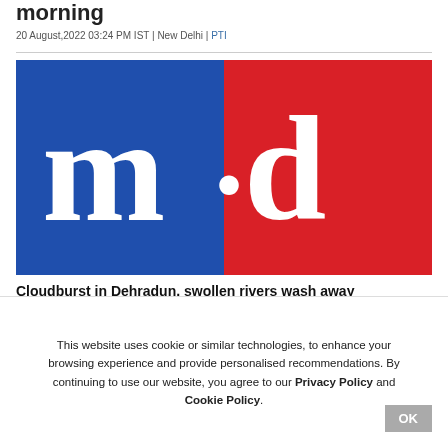morning
20 August,2022 03:24 PM IST | New Delhi | PTI
[Figure (logo): Morning Digest (m·d) logo — left half blue background with white bold serif 'm·', right half red background with white bold serif 'd']
Cloudburst in Dehradun, swollen rivers wash away bridges
This website uses cookie or similar technologies, to enhance your browsing experience and provide personalised recommendations. By continuing to use our website, you agree to our Privacy Policy and Cookie Policy.